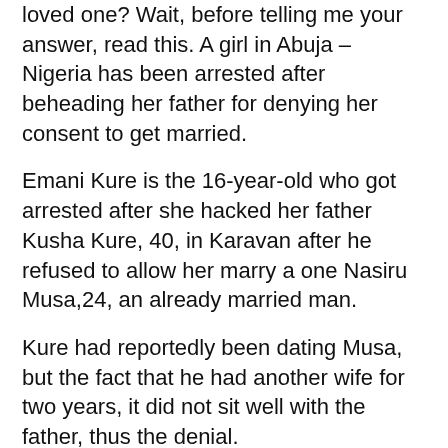loved one? Wait, before telling me your answer, read this. A girl in Abuja – Nigeria has been arrested after beheading her father for denying her consent to get married.
Emani Kure is the 16-year-old who got arrested after she hacked her father Kusha Kure, 40, in Karavan after he refused to allow her marry a one Nasiru Musa,24, an already married man.
Kure had reportedly been dating Musa, but the fact that he had another wife for two years, it did not sit well with the father, thus the denial.
“My father has beaten me several times, to stop me from marrying Nasiru. Around 3.00am on March 11, my mother told me while we were sleeping outside, to go into my father’s